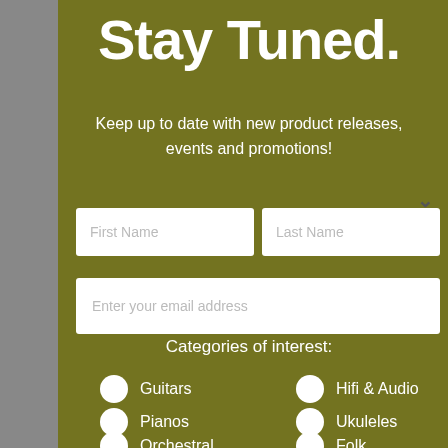Stay Tuned.
Keep up to date with new product releases, events and promotions!
First Name | Last Name (form fields)
Enter your email address (form field)
Categories of interest:
Guitars
Hifi & Audio
Pianos
Ukuleles
Orchestral
Folk